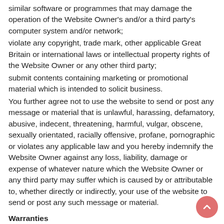similar software or programmes that may damage the operation of the Website Owner's and/or a third party's computer system and/or network;
violate any copyright, trade mark, other applicable Great Britain or international laws or intellectual property rights of the Website Owner or any other third party;
submit contents containing marketing or promotional material which is intended to solicit business.
You further agree not to use the website to send or post any message or material that is unlawful, harassing, defamatory, abusive, indecent, threatening, harmful, vulgar, obscene, sexually orientated, racially offensive, profane, pornographic or violates any applicable law and you hereby indemnify the Website Owner against any loss, liability, damage or expense of whatever nature which the Website Owner or any third party may suffer which is caused by or attributable to, whether directly or indirectly, your use of the website to send or post any such message or material.
Warranties